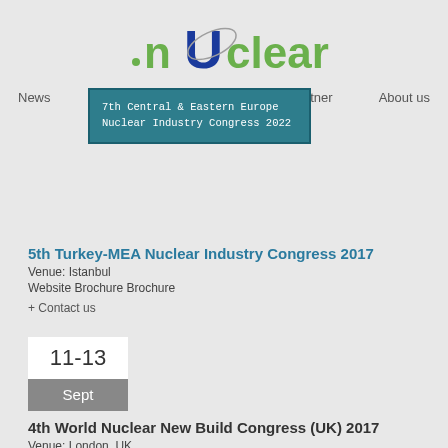[Figure (logo): nUclear logo with green and blue lettering]
News  Speaker  Calendar  Partner  About us
[Figure (screenshot): Popup overlay: 7th Central & Eastern Europe Nuclear Industry Congress 2022]
5th Turkey-MEA Nuclear Industry Congress 2017
Venue:  Istanbul
Website Brochure Brochure
+ Contact us
[Figure (infographic): Date box showing 11-13 Sept]
4th World Nuclear New Build Congress (UK) 2017
Venue: London, UK
Website Brochure Register
+ Contact us